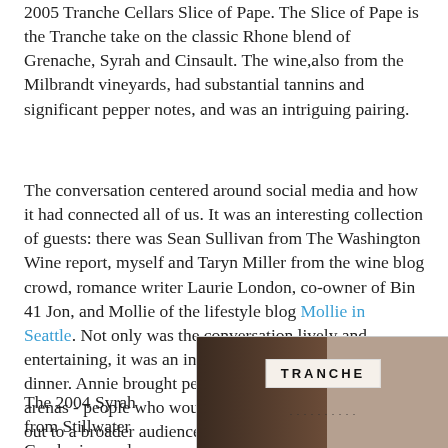2005 Tranche Cellars Slice of Pape. The Slice of Pape is the Tranche take on the classic Rhone blend of Grenache, Syrah and Cinsault. The wine,also from the Milbrandt vineyards, had substantial tannins and significant pepper notes, and was an intriguing pairing.
The conversation centered around social media and how it had connected all of us. It was an interesting collection of guests: there was Sean Sullivan from The Washington Wine report, myself and Taryn Miller from the wine blog crowd, romance writer Laurie London, co-owner of Bin 41 Jon, and Mollie of the lifestyle blog Mollie in Seattle. Not only was the conversation lively and entertaining, it was an interesting approach to a wine dinner. Annie brought people together from a variety of arenas - people who would use Twitter to get the word out to a broader audience than what wine bloggers alone can reach.
The 2004 Syrah from Stillwater Creek vineyard
[Figure (photo): Photo of a Tranche wine bottle with a white label reading TRANCHE in block letters, set against a dark brown background.]